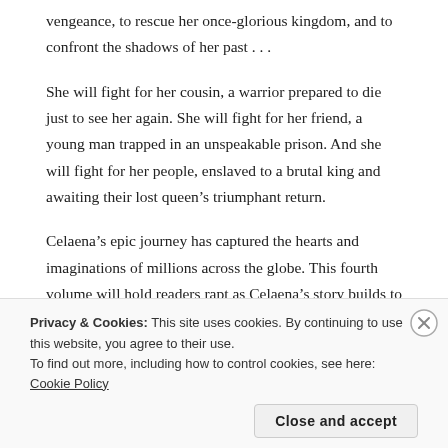vengeance, to rescue her once-glorious kingdom, and to confront the shadows of her past . . .
She will fight for her cousin, a warrior prepared to die just to see her again. She will fight for her friend, a young man trapped in an unspeakable prison. And she will fight for her people, enslaved to a brutal king and awaiting their lost queen’s triumphant return.
Celaena’s epic journey has captured the hearts and imaginations of millions across the globe. This fourth volume will hold readers rapt as Celaena’s story builds to a passionate, agonizing crescendo that might just shatter her world.
Privacy & Cookies: This site uses cookies. By continuing to use this website, you agree to their use.
To find out more, including how to control cookies, see here: Cookie Policy